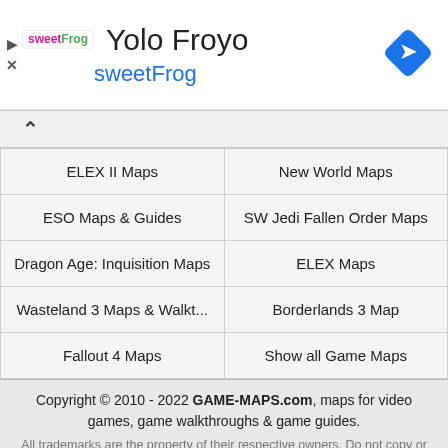[Figure (logo): sweetFrog frozen yogurt ad banner with logo, 'Yolo Froyo' title, 'sweetFrog' subtitle, and navigation diamond icon]
| ELEX II Maps | New World Maps |
| ESO Maps & Guides | SW Jedi Fallen Order Maps |
| Dragon Age: Inquisition Maps | ELEX Maps |
| Wasteland 3 Maps & Walkt... | Borderlands 3 Map |
| Fallout 4 Maps | Show all Game Maps |
Copyright © 2010 - 2022 GAME-MAPS.com, maps for video games, game walkthroughs & game guides.
All trademarks are the property of their respective owners. Do not copy or reprint any element of this site.
Contact Me   About   Privacy Policy & Cookies